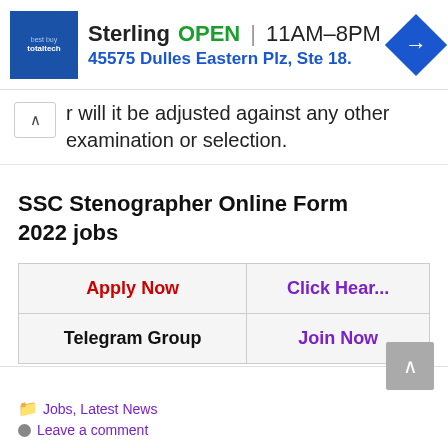[Figure (screenshot): Advertisement banner for Sterling store showing blue logo, OPEN status, hours 11AM-8PM, address 45575 Dulles Eastern Plz, Ste 18, and navigation icon]
r will it be adjusted against any other examination or selection.
SSC Stenographer Online Form 2022 jobs
| Apply Now | Click Hear... |
| --- | --- |
| Apply Now | Click Hear... |
| Telegram Group | Join Now |
Jobs, Latest News
Leave a comment